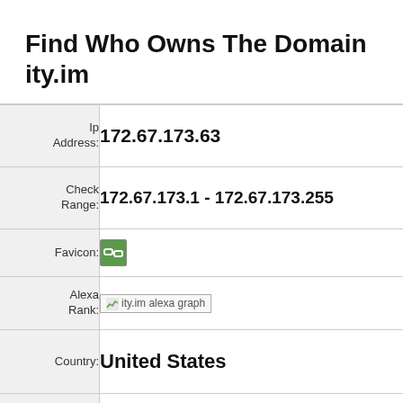Find Who Owns The Domain ity.im
| Label | Value |
| --- | --- |
| Ip Address: | 172.67.173.63 |
| Check Range: | 172.67.173.1 - 172.67.173.255 |
| Favicon: | [favicon icon] |
| Alexa Rank: | ity.im alexa graph |
| Country: | United States |
| Country code: | US |